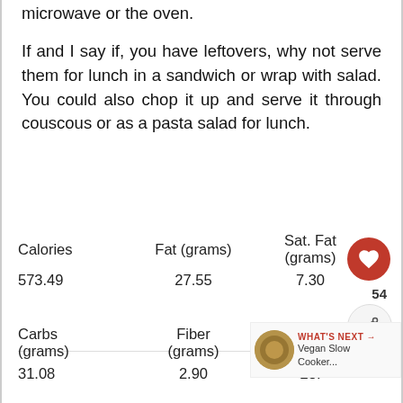microwave or the oven.
If and I say if, you have leftovers, why not serve them for lunch in a sandwich or wrap with salad. You could also chop it up and serve it through couscous or as a pasta salad for lunch.
| Calories | Fat (grams) | Sat. Fat (grams) |
| --- | --- | --- |
| 573.49 | 27.55 | 7.30 |
| Carbs (grams) | Fiber (grams) | Net carbs |
| --- | --- | --- |
| 31.08 | 2.90 | 28. |